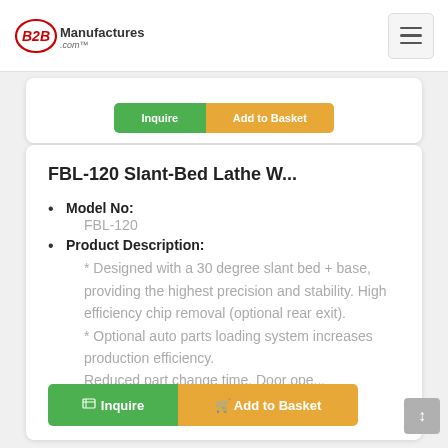B2BManufactures.com
FBL-120 Slant-Bed Lathe W...
Model No: FBL-120
Product Description: * Designed with a 30 degree slant bed + base, providing the highest precision and stability. High efficiency chip removal (optional rear exit). * Optional auto parts loading system increases production efficiency. Reduced part change time. Door ope...